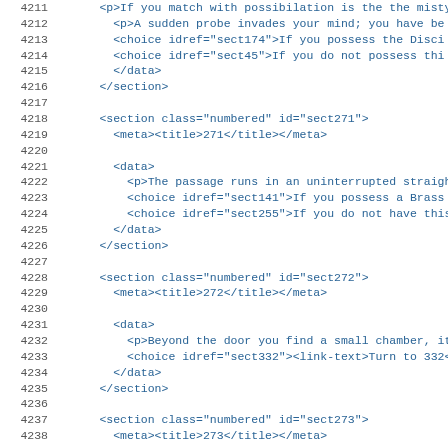Code listing lines 4211-4243 showing XML sections sect271, sect272, sect273
4211: <p>If you match with possibilation is the the misty...
4212: <p>A sudden probe invades your mind; you have be
4213: <choice idref="sect174">If you possess the Disci
4214: <choice idref="sect45">If you do not possess thi
4215: </data>
4216: </section>
4217:
4218: <section class="numbered" id="sect271">
4219: <meta><title>271</title></meta>
4220:
4221: <data>
4222: <p>The passage runs in an uninterrupted straight
4223: <choice idref="sect141">If you possess a Brass k
4224: <choice idref="sect255">If you do not have this
4225: </data>
4226: </section>
4227:
4228: <section class="numbered" id="sect272">
4229: <meta><title>272</title></meta>
4230:
4231: <data>
4232: <p>Beyond the door you find a small chamber, its
4233: <choice idref="sect332"><link-text>Turn to 332</
4234: </data>
4235: </section>
4236:
4237: <section class="numbered" id="sect273">
4238: <meta><title>273</title></meta>
4239:
4240: <data>
4241: <p>Like a shadow, you slip across the bridge and
4242: <choice idref="sect19">If you possess the Grand
4243: <choice idref="sect163">If you do not possess t